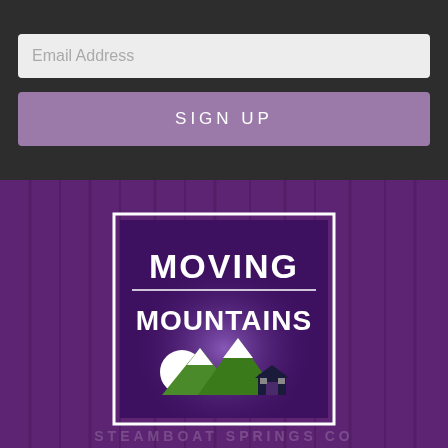Email Address
SIGN UP
[Figure (logo): Moving Mountains logo — white text on purple background with green and white mountain peaks and a chalet silhouette, inside a rectangular white-bordered frame]
[Figure (infographic): Publication logos on purple background: Forbes, Condé Nast Traveler, The Boston Globe, SKI Magazine, USA TODAY]
My Trips
Text Steamboat
Text Vail | Beaver Crk
Text Breckenrid...
Chat
Call
STEAMBOAT SPRINGS CO